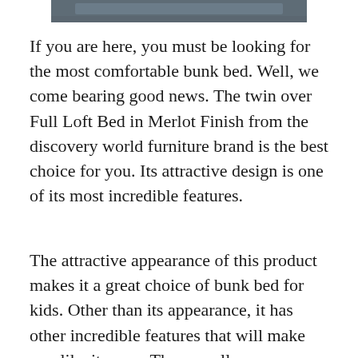[Figure (photo): Partial view of a bunk bed photo, cropped at top of page]
If you are here, you must be looking for the most comfortable bunk bed. Well, we come bearing good news. The twin over Full Loft Bed in Merlot Finish from the discovery world furniture brand is the best choice for you. Its attractive design is one of its most incredible features.
The attractive appearance of this product makes it a great choice of bunk bed for kids. Other than its appearance, it has other incredible features that will make you like it more. The overall